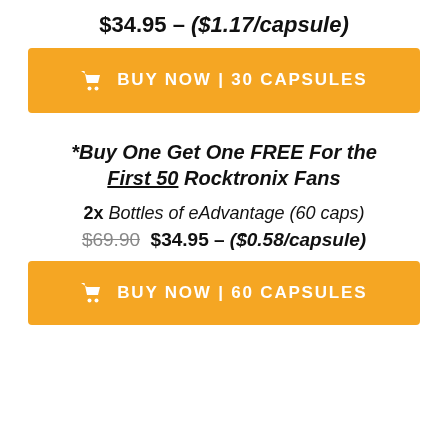$34.95 – ($1.17/capsule)
🛒 BUY NOW | 30 CAPSULES
*Buy One Get One FREE For the First 50 Rocktronix Fans
2x Bottles of eAdvantage (60 caps)
$69.90  $34.95 – ($0.58/capsule)
🛒 BUY NOW | 60 CAPSULES